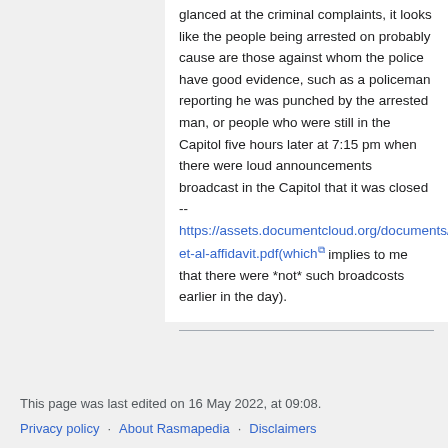glanced at the criminal complaints, it looks like the people being arrested on probably cause are those against whom the police have good evidence, such as a policeman reporting he was punched by the arrested man, or people who were still in the Capitol five hours later at 7:15 pm when there were loud announcements broadcast in the Capitol that it was closed -- https://assets.documentcloud.org/documents/20446138/yevgemya-et-al-affidavit.pdf(which [external link icon] implies to me that there were *not* such broadcosts earlier in the day).
This page was last edited on 16 May 2022, at 09:08.
Privacy policy · About Rasmapedia · Disclaimers